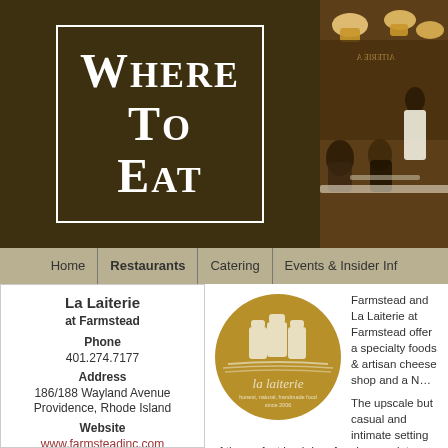[Figure (logo): WHERE TO EAT logo — dark olive/brown square with white bordered box and white serif text reading 'WHERE TO EAT']
[Figure (photo): Restaurant interior photo showing diners and waitstaff in a warmly lit dining room]
Home | Restaurants | Catering | Events & Insider Inf
La Laiterie
at Farmstead
Phone
401.274.7177
Address
186/188 Wayland Avenue
Providence, Rhode Island
Website
www.farmsteadinc.com
Map It!
Get Location & Directions
Chefs
Matt & Kate Jennings
[Figure (logo): La Laiterie circular logo — golden/olive circle with three white milk bottle silhouettes and text 'la laiterie' and 'honest, natural, handmade food since 2006']
Farmstead and La Laiterie at Farmstead offer a specialty foods & artisan cheese shop and a N…
The upscale but casual and intimate setting of the perfect backdrop for cheese plates, housem… refined desserts and a full bistro style menu ins… New England region. The success of both Farm…